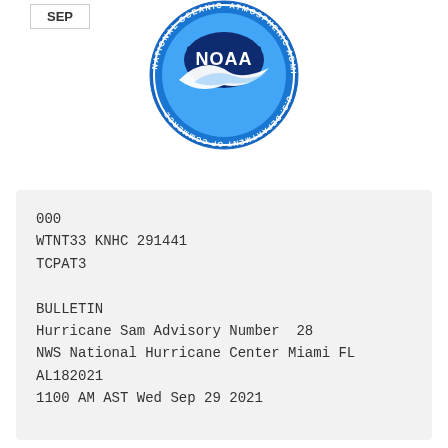[Figure (logo): NOAA logo — National Oceanic and Atmospheric Administration, U.S. Department of Commerce circular seal with blue globe and white bird]
SEP
000
WTNT33 KNHC 291441
TCPAT3

BULLETIN
Hurricane Sam Advisory Number  28
NWS National Hurricane Center Miami FL
AL182021
1100 AM AST Wed Sep 29 2021